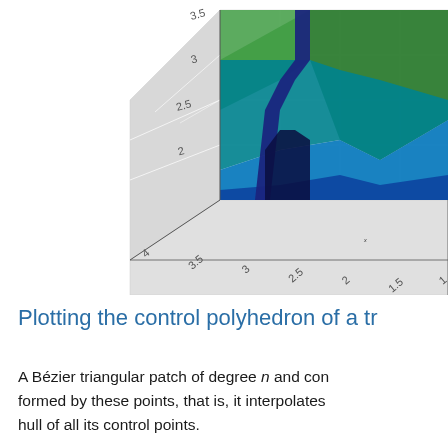[Figure (continuous-plot): Partial 3D surface plot (cropped, showing upper-right portion) with a colormap ranging from dark blue/navy at the bottom to green at the top. Axes labeled x (front-bottom), with tick values 1.5, 2, 2.5, 3, 3.5, 4 on one horizontal axis and values 2, 2.5, 3, 3.5 on another axis. The surface appears to show a sharp peak or ridge. Background is light gray with white gridlines.]
Plotting the control polyhedron of a tr
A Bézier triangular patch of degree n and con formed by these points, that is, it interpolates hull of all its control points.